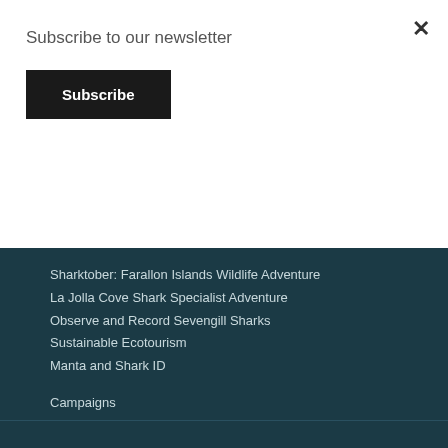Subscribe to our newsletter
Subscribe
Sharktober: Farallon Islands Wildlife Adventure
La Jolla Cove Shark Specialist Adventure
Observe and Record Sevengill Sharks
Sustainable Ecotourism
Manta and Shark ID
Campaigns
End the Lethal California Driftnet Fishery
PROTECTING SHARKS UNDER CITES
Support the US Shark Fin Sales Elimination Act
Ocean Protection: 30% x 2030
Tell eBay: Stop Endangered Shark Trade
Stop Big Plastic From Polluting California Seas
Fed Ex Shark Fin Shipping